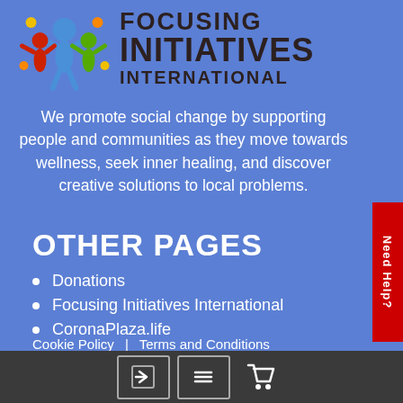[Figure (logo): Focusing Initiatives International logo with colorful figure icon and text]
We promote social change by supporting people and communities as they move towards wellness, seek inner healing, and discover creative solutions to local problems.
OTHER PAGES
Donations
Focusing Initiatives International
CoronaPlaza.life
Cookie Policy  |  Terms and Conditions